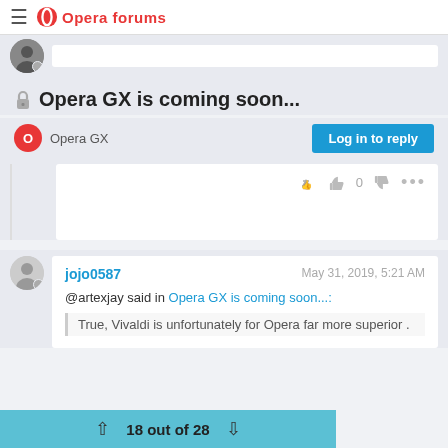Opera Forums
🔒Opera GX is coming soon...
Opera GX
Log in to reply
👍 0 👎 •••
jojo0587   May 31, 2019, 5:21 AM
@artexjay said in Opera GX is coming soon...:
True, Vivaldi is unfortunately for Opera far more superior .
18 out of 28